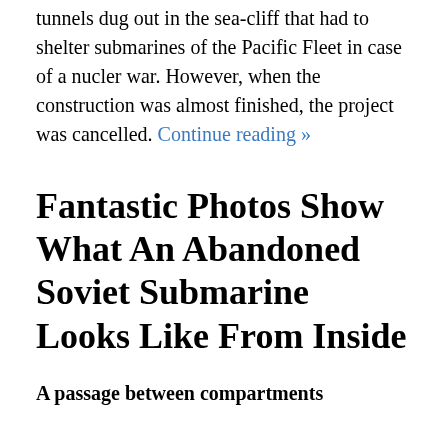tunnels dug out in the sea-cliff that had to shelter submarines of the Pacific Fleet in case of a nucler war. However, when the construction was almost finished, the project was cancelled. Continue reading »
Fantastic Photos Show What An Abandoned Soviet Submarine Looks Like From Inside
A passage between compartments